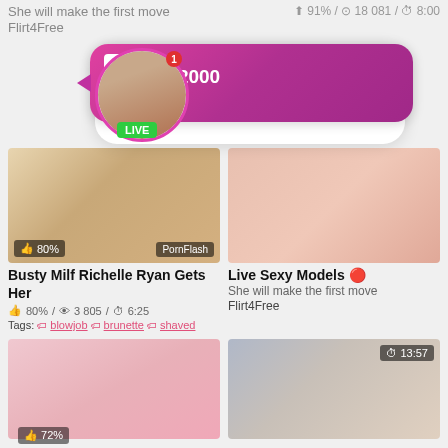She will make the first move
Flirt4Free
[Figure (screenshot): Ad popup with profile avatar showing LIVE badge, notification dot, and pink gradient card with ADS badge, name Jeniffer 2000, time (00:12)]
[Figure (photo): Thumbnail: Busty Milf Richelle Ryan video thumbnail showing scene, 80% like badge]
[Figure (photo): Thumbnail: Live Sexy Models right column thumbnail]
Busty Milf Richelle Ryan Gets Her
80% / 3 805 / 6:25
Tags: blowjob brunette shaved
Live Sexy Models 🔴
She will make the first move
Flirt4Free
[Figure (photo): Bottom left thumbnail, female content]
[Figure (photo): Bottom right thumbnail with 13:57 timer, blonde female content]